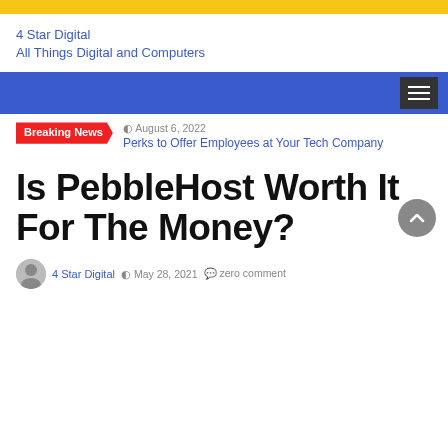4 Star Digital
All Things Digital and Computers
Breaking News | August 6, 2022 | Perks to Offer Employees at Your Tech Company
Is PebbleHost Worth It For The Money?
4 Star Digital  May 28, 2021  zero comment